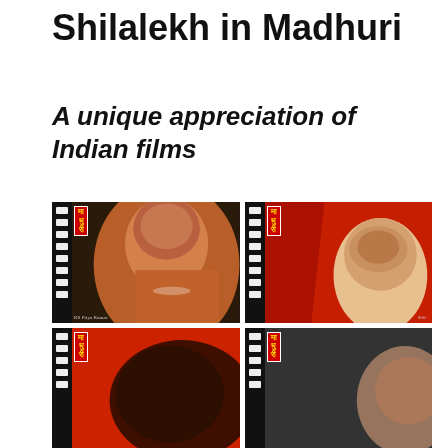Shilalekh in Madhuri
A unique appreciation of Indian films
[Figure (photo): Four Madhuri magazine covers arranged in a 2x2 grid. Top-left: male Bollywood actor in pink/salmon shirt against dark background with Madhuri logo. Top-right: female actress in red dupatta/veil against red background with Madhuri logo. Bottom-left: partial face/head against red background with Madhuri logo. Bottom-right: close-up of female face against dark background with Madhuri logo.]